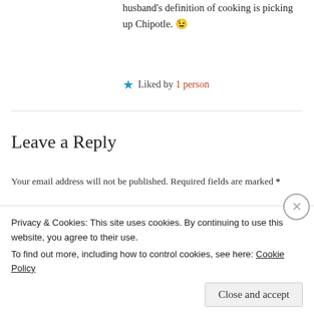husband's definition of cooking is picking up Chipotle. 😉
★ Liked by 1 person
Leave a Reply
Your email address will not be published. Required fields are marked *
Comment *
Privacy & Cookies: This site uses cookies. By continuing to use this website, you agree to their use.
To find out more, including how to control cookies, see here: Cookie Policy
Close and accept